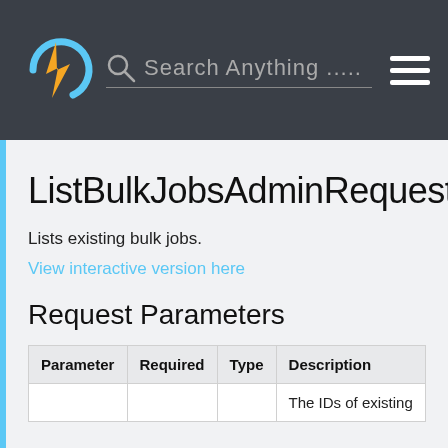Search Anything .....
ListBulkJobsAdminRequest
Lists existing bulk jobs.
View interactive version here
Request Parameters
| Parameter | Required | Type | Description |
| --- | --- | --- | --- |
|  |  |  | The IDs of existing |